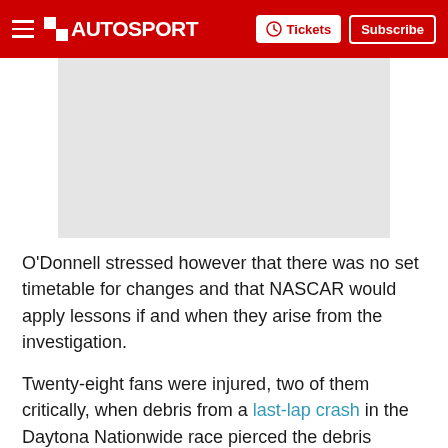AUTOSPORT — Tickets | Subscribe
[Figure (photo): Placeholder/advertisement image area, light gray rectangle]
O'Donnell stressed however that there was no set timetable for changes and that NASCAR would apply lessons if and when they arise from the investigation.
Twenty-eight fans were injured, two of them critically, when debris from a last-lap crash in the Daytona Nationwide race pierced the debris fencing.
"Really [it's] a two-phase process we're looking at," O'Donnell explained.
"Superspeedway racing with Daytona and Talladega is going to be the first concentration for us.